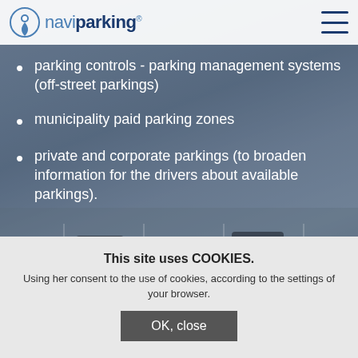naviparking®
parking controls - parking management systems (off-street parkings)
municipality paid parking zones
private and corporate parkings (to broaden information for the drivers about available parkings).
Providing citizens with parking information enables alleviating congestion caused by
This site uses COOKIES. Using her consent to the use of cookies, according to the settings of your browser.
OK, close